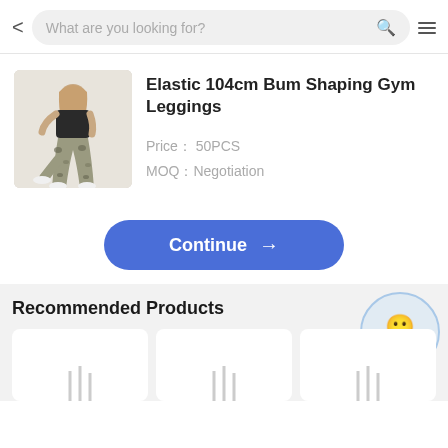What are you looking for?
Elastic 104cm Bum Shaping Gym Leggings
Price： 50PCS
MOQ：Negotiation
Continue →
Recommended Products
[Figure (photo): Woman wearing camouflage gym leggings, posing with back to camera, long blonde hair]
[Figure (photo): Three product thumbnails in recommended products grid, partially visible]